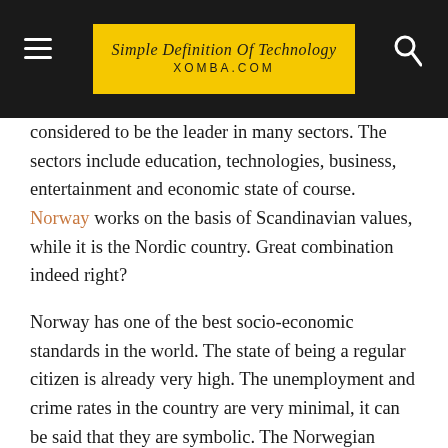Simple Definition Of Technology XOMBA.COM
considered to be the leader in many sectors. The sectors include education, technologies, business, entertainment and economic state of course. Norway works on the basis of Scandinavian values, while it is the Nordic country. Great combination indeed right?
Norway has one of the best socio-economic standards in the world. The state of being a regular citizen is already very high. The unemployment and crime rates in the country are very minimal, it can be said that they are symbolic. The Norwegian people can be cold, as they are descendants of the Vikings, though they are extremely hospitable, cultural and tolerant towards everyone.
The population of Norway is not very big, the total number of the Norwegian population is 5.1 million. The number is very…